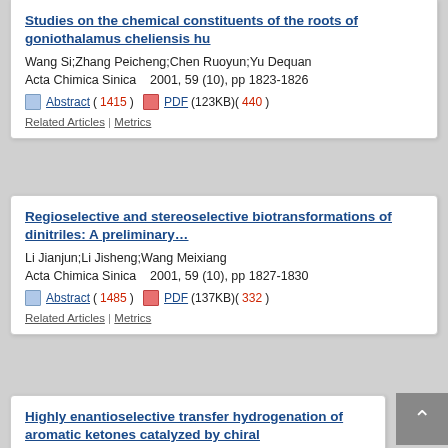Studies on the chemical constituents of the roots of goniothalamus cheliensis hu
Wang Si;Zhang Peicheng;Chen Ruoyun;Yu Dequan
Acta Chimica Sinica    2001, 59 (10), pp 1823-1826
Abstract( 1415 )  PDF(123KB)( 440 )
Related Articles | Metrics
Regioselective and stereoselective biotransformations of dinitriles: A preliminary...
Li Jianjun;Li Jisheng;Wang Meixiang
Acta Chimica Sinica    2001, 59 (10), pp 1827-1830
Abstract( 1485 )  PDF(137KB)( 332 )
Related Articles | Metrics
Highly enantioselective transfer hydrogenation of aromatic ketones catalyzed by chiral